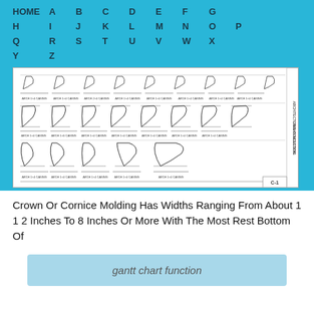HOME  A  B  C  D  E  F  G  H  I  J  K  L  M  N  O  P  Q  R  S  T  U  V  W  X  Y  Z
[Figure (engineering-diagram): Architectural collection crown molding diagram showing multiple crown/cornice molding profiles in a grid layout with dimensions and labels, labeled C-1]
Crown Or Cornice Molding Has Widths Ranging From About 1 1 2 Inches To 8 Inches Or More With The Most Rest Bottom Of
gantt chart function